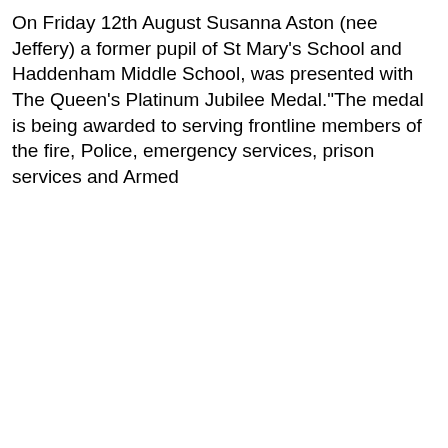On Friday 12th August Susanna Aston (nee Jeffery) a former pupil of St Mary's School and Haddenham Middle School, was presented with The Queen's Platinum Jubilee Medal."The medal is being awarded to serving frontline members of the fire, Police, emergency services, prison services and Armed